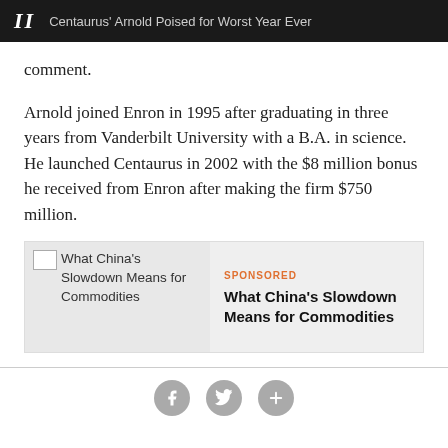II  Centaurus' Arnold Poised for Worst Year Ever
comment.
Arnold joined Enron in 1995 after graduating in three years from Vanderbilt University with a B.A. in science. He launched Centaurus in 2002 with the $8 million bonus he received from Enron after making the firm $750 million.
[Figure (other): Sponsored advertisement box featuring an image placeholder with text 'What China's Slowdown Means for Commodities' and a sponsored label with bold title 'What China's Slowdown Means for Commodities']
Social sharing icons: Facebook, Twitter, Plus